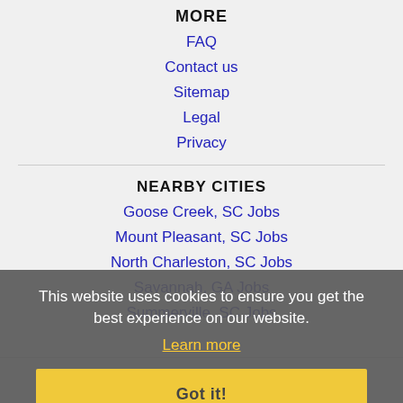MORE
FAQ
Contact us
Sitemap
Legal
Privacy
NEARBY CITIES
Goose Creek, SC Jobs
Mount Pleasant, SC Jobs
North Charleston, SC Jobs
Savannah, GA Jobs
Summerville, SC Jobs
This website uses cookies to ensure you get the best experience on our website.
Learn more
Got it!
Home  Profile and Resume  Browse Jobs  Employers
Other Cities  Clients List  About Us  Contact Us  Help